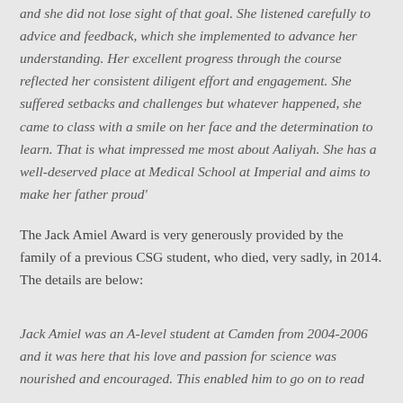and she did not lose sight of that goal. She listened carefully to advice and feedback, which she implemented to advance her understanding. Her excellent progress through the course reflected her consistent diligent effort and engagement. She suffered setbacks and challenges but whatever happened, she came to class with a smile on her face and the determination to learn. That is what impressed me most about Aaliyah. She has a well-deserved place at Medical School at Imperial and aims to make her father proud'
The Jack Amiel Award is very generously provided by the family of a previous CSG student, who died, very sadly, in 2014. The details are below:
Jack Amiel was an A-level student at Camden from 2004-2006 and it was here that his love and passion for science was nourished and encouraged. This enabled him to go on to read